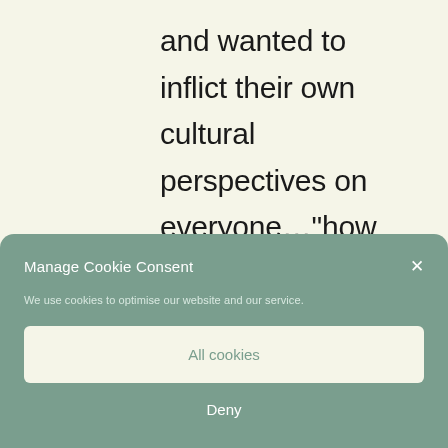and wanted to inflict their own cultural perspectives on everyone…"how dare these inferior mortals use the written word" !
Manage Cookie Consent
We use cookies to optimise our website and our service.
All cookies
Deny